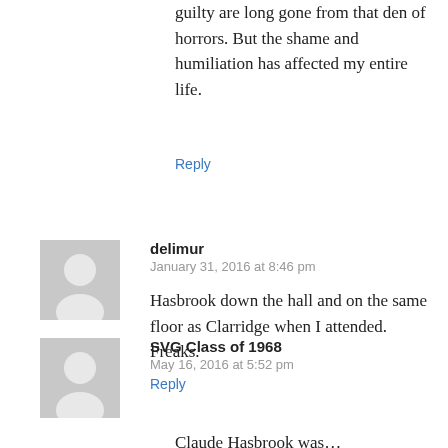guilty are long gone from that den of horrors. But the shame and humiliation has affected my entire life.
Reply
delimur
January 31, 2016 at 8:46 pm
Hasbrook down the hall and on the same floor as Clarridge when I attended. Freaks.
Reply
SVG Class of 1968
May 16, 2016 at 5:52 pm
Claude Hasbrook was…